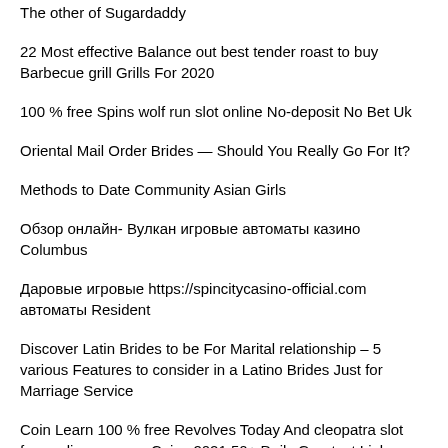The other of Sugardaddy
22 Most effective Balance out best tender roast to buy Barbecue grill Grills For 2020
100 % free Spins wolf run slot online No-deposit No Bet Uk
Oriental Mail Order Brides — Should You Really Go For It?
Methods to Date Community Asian Girls
Обзор онлайн- Вулкан игровые автоматы казино Columbus
Даровые игровые https://spincitycasino-official.com автоматы Resident
Discover Latin Brides to be For Marital relationship – 5 various Features to consider in a Latino Brides Just for Marriage Service
Coin Learn 100 % free Revolves Today And cleopatra slot free online you can Coins 2021 50+ Daily Greatest Links